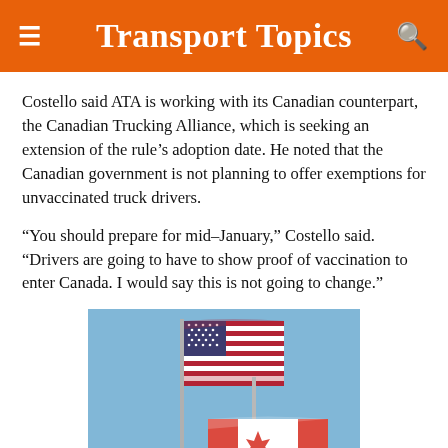Transport Topics
Costello said ATA is working with its Canadian counterpart, the Canadian Trucking Alliance, which is seeking an extension of the rule’s adoption date. He noted that the Canadian government is not planning to offer exemptions for unvaccinated truck drivers.
“You should prepare for mid–January,” Costello said. “Drivers are going to have to show proof of vaccination to enter Canada. I would say this is not going to change.”
[Figure (photo): US and Canadian flags flying on poles against a blue sky background.]